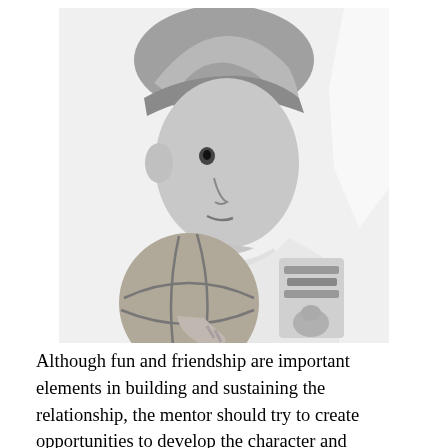[Figure (photo): Black and white photograph of a young boy wearing a baseball cap, leaning forward holding a basketball. He is wearing a graphic t-shirt with cartoon imagery.]
Although fun and friendship are important elements in building and sustaining the relationship, the mentor should try to create opportunities to develop the character and